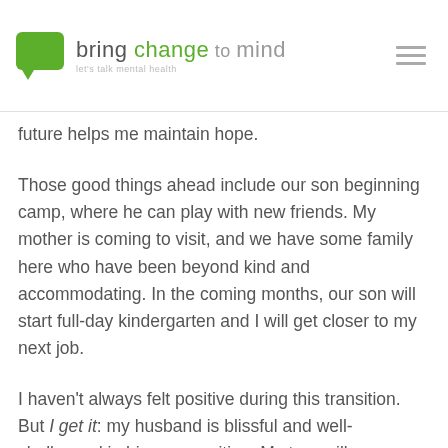bring change to mind — let's talk mental health
future helps me maintain hope.
Those good things ahead include our son beginning camp, where he can play with new friends. My mother is coming to visit, and we have some family here who have been beyond kind and accommodating. In the coming months, our son will start full-day kindergarten and I will get closer to my next job.
I haven't always felt positive during this transition. But I get it: my husband is blissful and well-challenged in his new position. My turn will come soon enough. The biggest